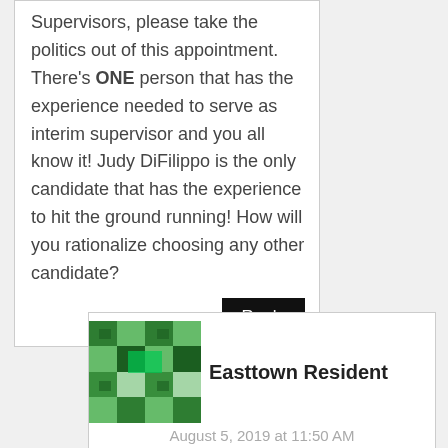Supervisors, please take the politics out of this appointment. There's ONE person that has the experience needed to serve as interim supervisor and you all know it! Judy DiFilippo is the only candidate that has the experience to hit the ground running! How will you rationalize choosing any other candidate?
Reply
[Figure (illustration): Green pixel/avatar icon for Easttown Resident commenter]
Easttown Resident
August 5, 2019 at 11:50 AM
As my screen name reveals, I'm not a resident in Tredyffrin and not a follower of Township matters, Easttown or Tredyffrin. I do know that our township services overlap a lot and that's why I feel entitled to comment.